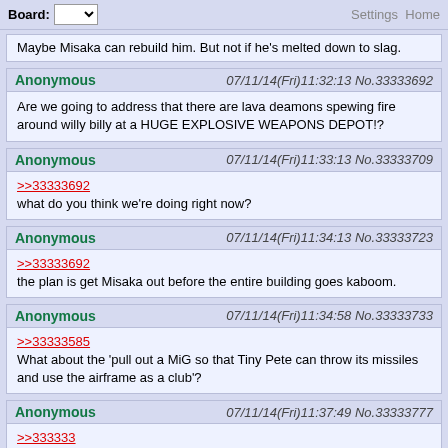Board: /a/ - Anime & Manga | Settings | Home
Maybe Misaka can rebuild him. But not if he's melted down to slag.
Anonymous 07/11/14(Fri)11:32:13 No.33333692
Are we going to address that there are lava deamons spewing fire around willy billy at a HUGE EXPLOSIVE WEAPONS DEPOT!?
Anonymous 07/11/14(Fri)11:33:13 No.33333709
>>33333692
what do you think we're doing right now?
Anonymous 07/11/14(Fri)11:34:13 No.33333723
>>33333692
the plan is get Misaka out before the entire building goes kaboom.
Anonymous 07/11/14(Fri)11:34:58 No.33333733
>>33333585
What about the 'pull out a MiG so that Tiny Pete can throw its missiles and use the airframe as a club'?
Anonymous 07/11/14(Fri)11:37:49 No.33333777